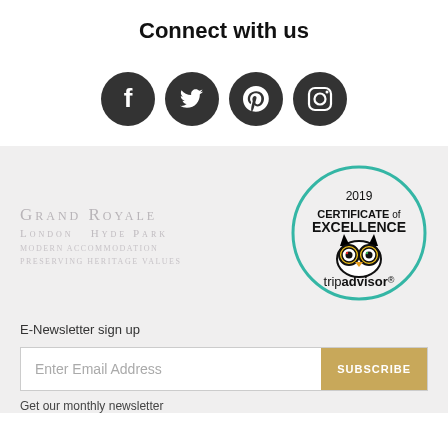Connect with us
[Figure (infographic): Four circular dark grey social media icons: Facebook, Twitter, Pinterest, Instagram]
[Figure (logo): Grand Royale London Hyde Park hotel logo with taglines: Modern Accommodation, Preserving Heritage Values]
[Figure (logo): TripAdvisor 2019 Certificate of Excellence badge with owl logo]
E-Newsletter sign up
Enter Email Address
SUBSCRIBE
Get our monthly newsletter